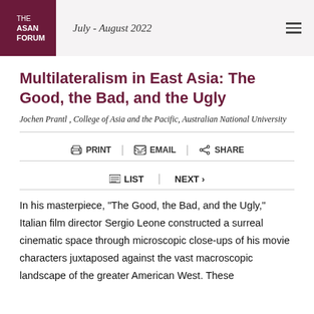THE ASAN FORUM | July - August 2022
Multilateralism in East Asia: The Good, the Bad, and the Ugly
Jochen Prantl , College of Asia and the Pacific, Australian National University
PRINT | EMAIL | SHARE
LIST | NEXT >
In his masterpiece, “The Good, the Bad, and the Ugly,” Italian film director Sergio Leone constructed a surreal cinematic space through microscopic close-ups of his movie characters juxtaposed against the vast macroscopic landscape of the greater American West. These